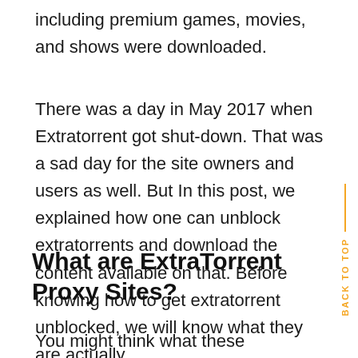including premium games, movies, and shows were downloaded.
There was a day in May 2017 when Extratorrent got shut-down. That was a sad day for the site owners and users as well. But In this post, we explained how one can unblock extratorrents and download the content available on that. Before knowing how to get extratorrent unblocked, we will know what they are actually.
What are ExtraTorrent Proxy Sites?
You might think what these extratorrent proxy sites